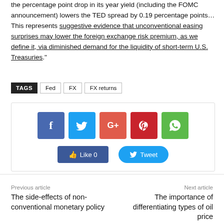the percentage point drop in its year yield (including the FOMC announcement) lowers the TED spread by 0.19 percentage points…This represents suggestive evidence that unconventional easing surprises may lower the foreign exchange risk premium, as we define it, via diminished demand for the liquidity of short-term U.S. Treasuries."
TAGS: Fed  FX  FX returns
[Figure (infographic): Social sharing buttons: Facebook, Twitter, Google+, Pinterest, WhatsApp icons, plus Like 0 and Tweet buttons]
Previous article
The side-effects of non-conventional monetary policy
Next article
The importance of differentiating types of oil price